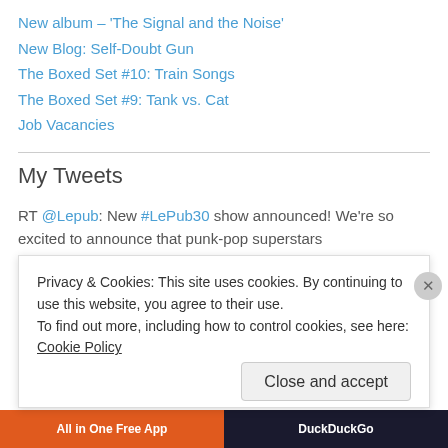New album – 'The Signal and the Noise'
New Blog: Self-Doubt Gun
The Boxed Set #10: Train Songs
The Boxed Set #9: Tank vs. Cat
Job Vacancies
My Tweets
RT @Lepub: New #LePub30 show announced! We're so excited to announce that punk-pop superstars @HELENLOVE123 are heading to Le Pub this Nove… 1 month ago
Awesome gig last night. Great to see @aaaarghnooooo again, and
Privacy & Cookies: This site uses cookies. By continuing to use this website, you agree to their use.
To find out more, including how to control cookies, see here: Cookie Policy
Close and accept